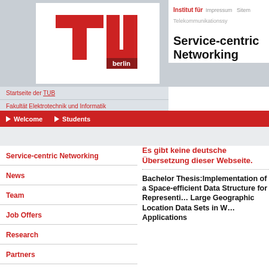[Figure (logo): TU Berlin logo — red stylized T and U with 'berlin' text on white background]
Startseite der TUB
Fakultät Elektrotechnik und Informatik
Institut für Telekommunikationssysteme
Institut für Telekommunikationssysteme | Impressum | Sitemap
Service-centric Networking
Welcome   Students
Service-centric Networking
News
Team
Job Offers
Research
Partners
Practice
Projects
Es gibt keine deutsche Übersetzung dieser Webseite.
Bachelor Thesis:Implementation of a Space-efficient Data Structure for Representing Large Geographic Location Data Sets in Web Applications